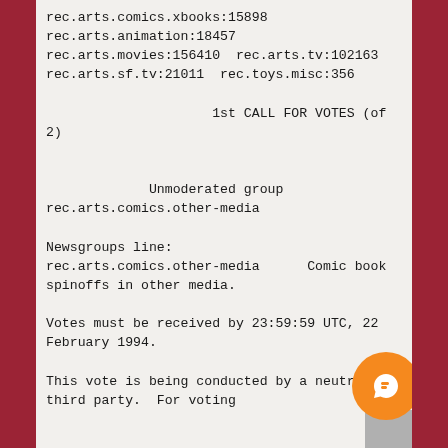rec.arts.comics.xbooks:15898
rec.arts.animation:18457
rec.arts.movies:156410  rec.arts.tv:102163
rec.arts.sf.tv:21011  rec.toys.misc:356
1st CALL FOR VOTES (of 2)
Unmoderated group
rec.arts.comics.other-media
Newsgroups line:
rec.arts.comics.other-media      Comic book spinoffs in other media.
Votes must be received by 23:59:59 UTC, 22 February 1994.
This vote is being conducted by a neutral third party.  For voting